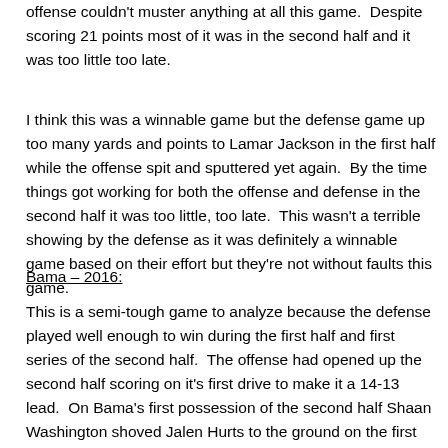offense couldn't muster anything at all this game.  Despite scoring 21 points most of it was in the second half and it was too little too late.
I think this was a winnable game but the defense game up too many yards and points to Lamar Jackson in the first half while the offense spit and sputtered yet again.  By the time things got working for both the offense and defense in the second half it was too little, too late.  This wasn't a terrible showing by the defense as it was definitely a winnable game based on their effort but they're not without faults this game.
Bama – 2016:
This is a semi-tough game to analyze because the defense played well enough to win during the first half and first series of the second half.  The offense had opened up the second half scoring on it's first drive to make it a 14-13 lead.  On Bama's first possession of the second half Shaan Washington shoved Jalen Hurts to the ground on the first 3rd down. Bama was not converting on the play as Hurts basically throw it away.  The defense had hold on a 3rd down but a